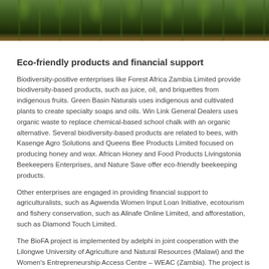[Figure (photo): Close-up photo of seedlings growing in dark soil, showing green plant shoots emerging from earth]
Eco-friendly products and financial support
Biodiversity-positive enterprises like Forest Africa Zambia Limited provide biodiversity-based products, such as juice, oil, and briquettes from indigenous fruits. Green Basin Naturals uses indigenous and cultivated plants to create specialty soaps and oils. Win Link General Dealers uses organic waste to replace chemical-based school chalk with an organic alternative. Several biodiversity-based products are related to bees, with Kasenge Agro Solutions and Queens Bee Products Limited focused on producing honey and wax. African Honey and Food Products Livingstonia Beekeepers Enterprises, and Nature Save offer eco-friendly beekeeping products.
Other enterprises are engaged in providing financial support to agriculturalists, such as Agwenda Women Input Loan Initiative, ecotourism and fishery conservation, such as Alinafe Online Limited, and afforestation, such as Diamond Touch Limited.
The BioFA project is implemented by adelphi in joint cooperation with the Lilongwe University of Agriculture and Natural Resources (Malawi) and the Women's Entrepreneurship Access Centre – WEAC (Zambia). The project is part of the International Climate Initiative (IKI) supported